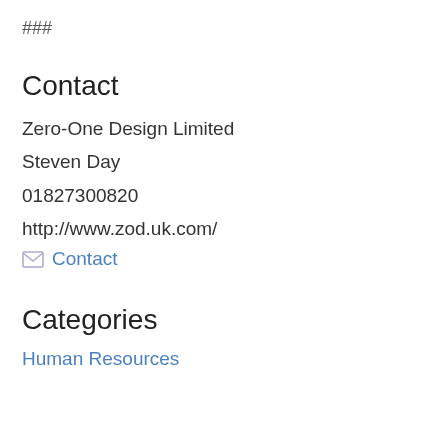###
Contact
Zero-One Design Limited
Steven Day
01827300820
http://www.zod.uk.com/
✉ Contact
Categories
Human Resources